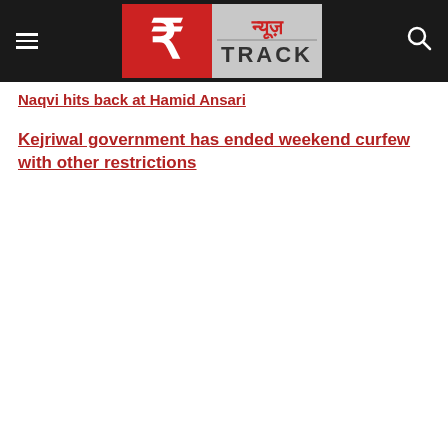[Figure (logo): News Track logo with red square containing stylized 't' icon and Hindi/English text न्यूज़ TRACK on dark header bar]
Naqvi hits back at Hamid Ansari
Kejriwal government has ended weekend curfew with other restrictions